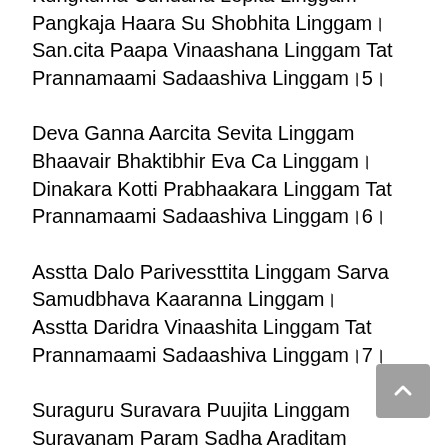Kungkuma Cundana Lepita Linggam Pangkaja Haara Su Shobhita Linggam। San.cita Paapa Vinaashana Linggam Tat Prannamaami Sadaashiva Linggam।5।
Deva Ganna Aarcita Sevita Linggam Bhaavair Bhaktibhir Eva Ca Linggam। Dinakara Kotti Prabhaakara Linggam Tat Prannamaami Sadaashiva Linggam।6।
Asstta Dalo Parivessttita Linggam Sarva Samudbhava Kaaranna Linggam। Asstta Daridra Vinaashita Linggam Tat Prannamaami Sadaashiva Linggam।7।
Suraguru Suravara Puujita Linggam Suravanam Param Sadha Araditam